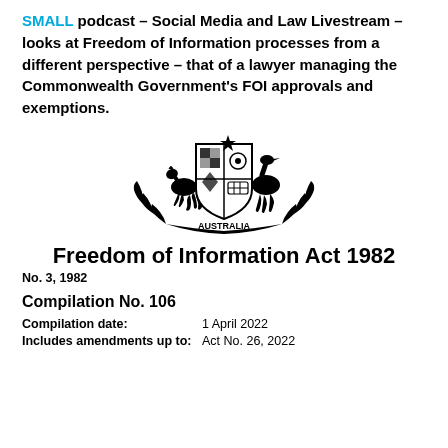SMALL podcast – Social Media and Law Livestream – looks at Freedom of Information processes from a different perspective – that of a lawyer managing the Commonwealth Government's FOI approvals and exemptions.
[Figure (logo): Australian Commonwealth Coat of Arms with kangaroo and emu supporters, shield, and 'AUSTRALIA' text below with laurel branches]
Freedom of Information Act 1982
No. 3, 1982
Compilation No. 106
Compilation date: 1 April 2022
Includes amendments up to: Act No. 26, 2022